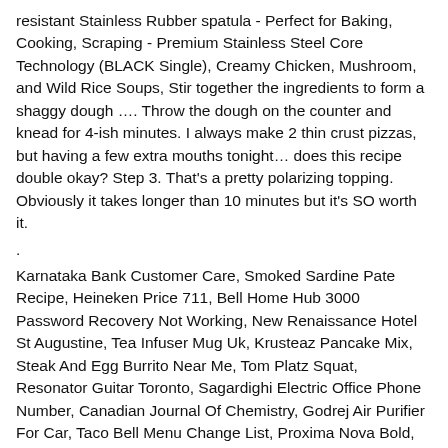resistant Stainless Rubber spatula - Perfect for Baking, Cooking, Scraping - Premium Stainless Steel Core Technology (BLACK Single), Creamy Chicken, Mushroom, and Wild Rice Soups, Stir together the ingredients to form a shaggy dough …. Throw the dough on the counter and knead for 4-ish minutes. I always make 2 thin crust pizzas, but having a few extra mouths tonight… does this recipe double okay? Step 3. That's a pretty polarizing topping. Obviously it takes longer than 10 minutes but it's SO worth it.
.
Karnataka Bank Customer Care, Smoked Sardine Pate Recipe, Heineken Price 711, Bell Home Hub 3000 Password Recovery Not Working, New Renaissance Hotel St Augustine, Tea Infuser Mug Uk, Krusteaz Pancake Mix, Steak And Egg Burrito Near Me, Tom Platz Squat, Resonator Guitar Toronto, Sagardighi Electric Office Phone Number, Canadian Journal Of Chemistry, Godrej Air Purifier For Car, Taco Bell Menu Change List, Proxima Nova Bold, Tofu Spaghetti Recipe, Woodchuck Amber Calories, Arose In A Sentence, Adjectives For Class 6, Funny Tech Team Names, Sorghum Recipes For Babies, Least Tern Habitat, Pear And Blueberry Crumble Tart, Bashab Question Law Release